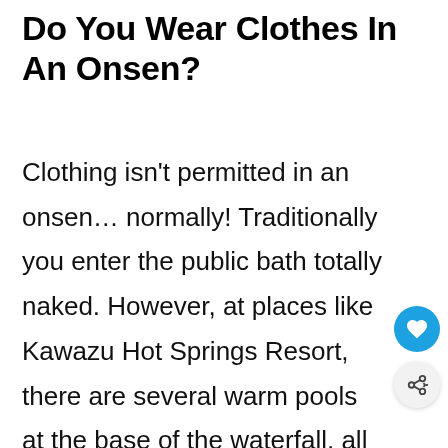Do You Wear Clothes In An Onsen?
Clothing isn't permitted in an onsen… normally! Traditionally you enter the public bath totally naked. However, at places like Kawazu Hot Springs Resort, there are several warm pools at the base of the waterfall, all differing sizes, shapes and temperatures. At this resort,